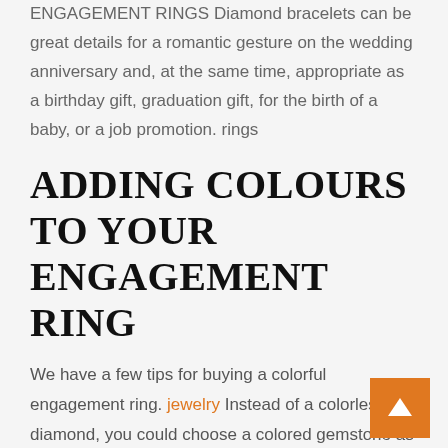ENGAGEMENT RINGS Diamond bracelets can be great details for a romantic gesture on the wedding anniversary and, at the same time, appropriate as a birthday gift, graduation gift, for the birth of a baby, or a job promotion. rings
ADDING COLOURS TO YOUR ENGAGEMENT RING
We have a few tips for buying a colorful engagement ring. jewelry Instead of a colorless diamond, you could choose a colored gemstone as the central stone in the ring. ENGAGEMENT RINGS
Diamonds can also be naturally colored. Naturally colored diamonds are even rarer and therefore